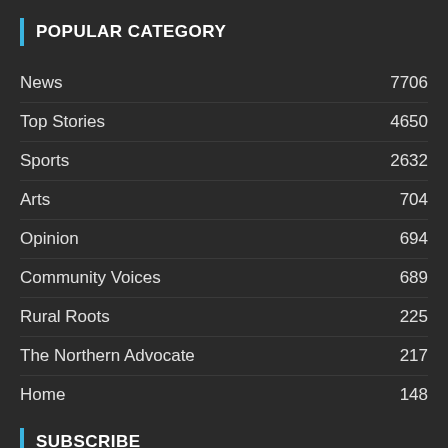POPULAR CATEGORY
News 7706
Top Stories 4650
Sports 2632
Arts 704
Opinion 694
Community Voices 689
Rural Roots 225
The Northern Advocate 217
Home 148
Subscribe
Support your journalists! Subscribe to our digital edition for